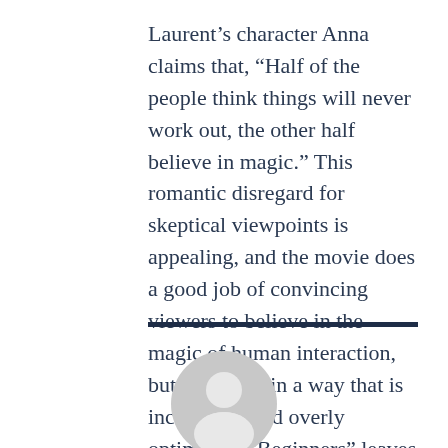Laurent's character Anna claims that, “Half of the people think things will never work out, the other half believe in magic.” This romantic disregard for skeptical viewpoints is appealing, and the movie does a good job of convincing viewers to believe in the magic of human interaction, but it does so in a way that is incomplete and overly optimistic. “Beginners” leaves the viewer feeling happy and fulfilled but uncertain as to why. Perhaps its just the magic of watching a well filmed story of human connection.
[Figure (illustration): A circular avatar placeholder icon showing a generic person silhouette in gray tones]